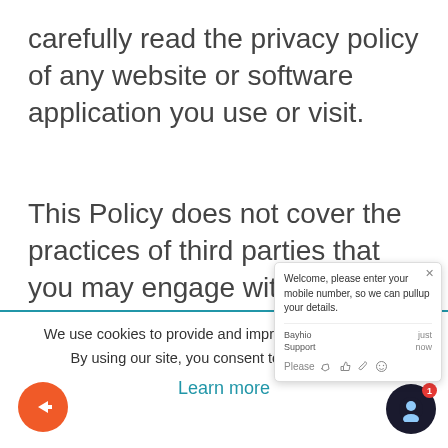carefully read the privacy policy of any website or software application you use or visit.
This Policy does not cover the practices of third parties that you may engage with when using the Services, such as your mobile network operator or other users of our Services. You should contact th
[Figure (screenshot): Chat support widget popup showing: 'Welcome, please enter your mobile number, so we can pullup your details.' with agent name 'Bayhio Support' and timestamp 'just now'. Input area with thumbs up, paperclip, and emoji icons. A chat widget button in bottom right corner.]
We use cookies to provide and improve our servic
By using our site, you consent to cookies.
Learn more